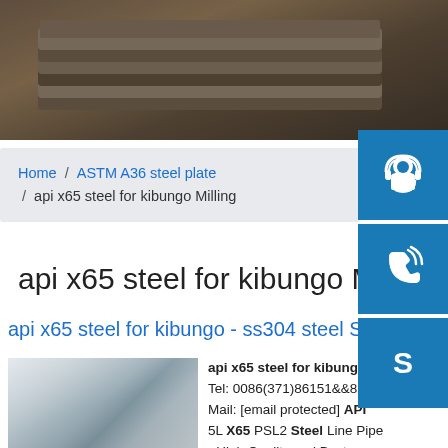[Figure (photo): Stack of dark steel plates viewed from the side, showing layered metallic edges]
Home / ASTM A36 steel plate / api x65 steel for kibungo Milling
api x65 steel for kibungo Milling
api x65 steel for kibungo - ss304 steel Su...
[Figure (photo): Shiny polished steel sheet/plate with reflective surface, stored in a warehouse]
api x65 steel for kibungo. Tel: 0086(371)86151&&827. Mail: [email protected] API 5L X65 PSL2 Steel Line Pipe - High Quality and Best PriceAPI 5L Grade X65 or L450 PSL 1 pipe is normal